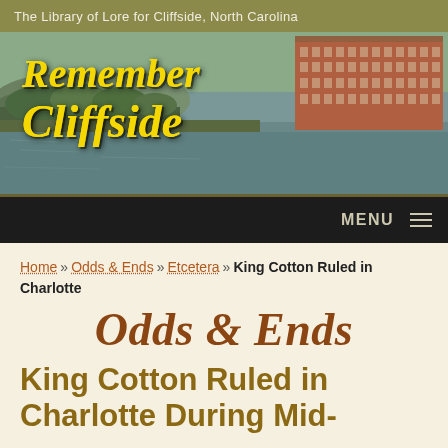The Library of Lore for Cliffside, North Carolina
[Figure (illustration): Remember Cliffside banner image showing a historic riverside scene with a large brick mill building on the right, trees and hills in the background, and water in the foreground. Yellow italic script reads 'Remember Cliffside'.]
MENU
Home » Odds & Ends » Etcetera » King Cotton Ruled in Charlotte
Odds & Ends
King Cotton Ruled in Charlotte During Mid-